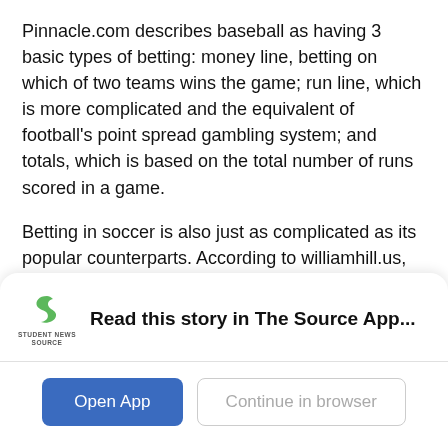Pinnacle.com describes baseball as having 3 basic types of betting: money line, betting on which of two teams wins the game; run line, which is more complicated and the equivalent of football's point spread gambling system; and totals, which is based on the total number of runs scored in a game.
Betting in soccer is also just as complicated as its popular counterparts. According to williamhill.us, the most popular type of soccer betting is that of three-way money lines, where bettors place their money on the chances of Team A winning, Team B winning, or a draw.
[Figure (logo): Student News Source app logo — green stylized 'S' shape above text reading 'STUDENT NEWS SOURCE']
Read this story in The Source App...
Open App
Continue in browser